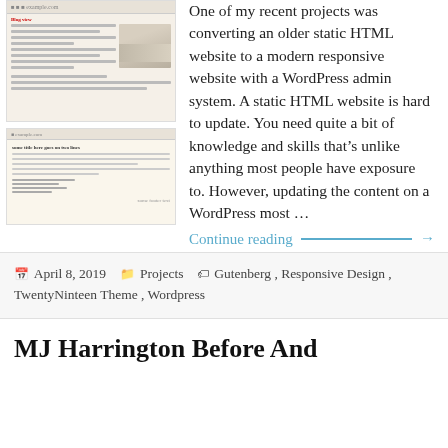[Figure (screenshot): Screenshot of a website with blog content and a kitchen photo thumbnail]
One of my recent projects was converting an older static HTML website to a modern responsive website with a WordPress admin system. A static HTML website is hard to update. You need quite a bit of knowledge and skills that's unlike anything most people have exposure to. However, updating the content on a WordPress most …
Continue reading →
April 8, 2019   Projects   Gutenberg, Responsive Design, TwentyNinteen Theme, Wordpress
MJ Harrington Before And